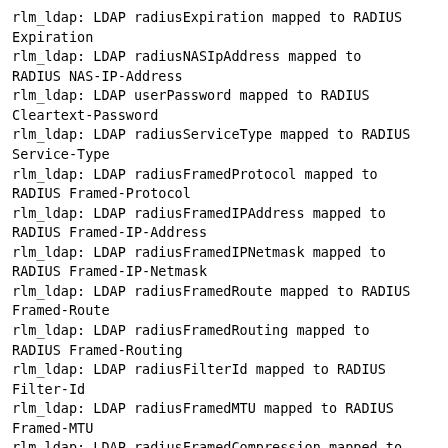rlm_ldap: LDAP radiusExpiration mapped to RADIUS Expiration
rlm_ldap: LDAP radiusNASIpAddress mapped to RADIUS NAS-IP-Address
rlm_ldap: LDAP userPassword mapped to RADIUS Cleartext-Password
rlm_ldap: LDAP radiusServiceType mapped to RADIUS Service-Type
rlm_ldap: LDAP radiusFramedProtocol mapped to RADIUS Framed-Protocol
rlm_ldap: LDAP radiusFramedIPAddress mapped to RADIUS Framed-IP-Address
rlm_ldap: LDAP radiusFramedIPNetmask mapped to RADIUS Framed-IP-Netmask
rlm_ldap: LDAP radiusFramedRoute mapped to RADIUS Framed-Route
rlm_ldap: LDAP radiusFramedRouting mapped to RADIUS Framed-Routing
rlm_ldap: LDAP radiusFilterId mapped to RADIUS Filter-Id
rlm_ldap: LDAP radiusFramedMTU mapped to RADIUS Framed-MTU
rlm_ldap: LDAP radiusFramedCompression mapped to RADIUS Framed-Compression
rlm_ldap: LDAP radiusLoginIPHost mapped to RADIUS Login-IP-Host
rlm_ldap: LDAP radiusLoginService mapped to RADIUS Login-Service
rlm_ldap: LDAP radiusLoginTCPPort mapped to RADIUS Login-TCP-Port